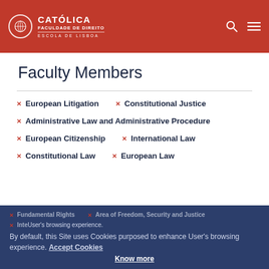[Figure (logo): Católica Faculdade de Direito Escola de Lisboa logo with circular emblem on red header background]
Faculty Members
× European Litigation  × Constitutional Justice
× Administrative Law and Administrative Procedure
× European Citizenship  × International Law
× Constitutional Law  × European Law
× Fundamental Rights  × Area of Freedom, Security and Justice
× International...
By default, this Site uses Cookies purposed to enhance User's browsing experience. Accept Cookies Know more